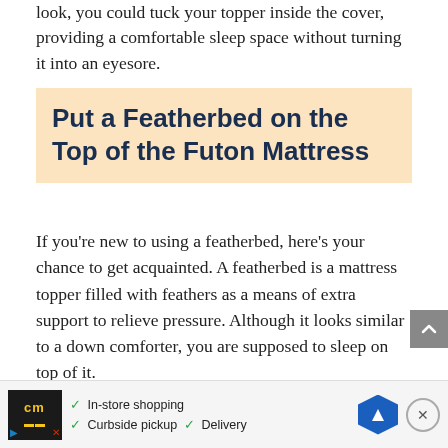look, you could tuck your topper inside the cover, providing a comfortable sleep space without turning it into an eyesore.
Put a Featherbed on the Top of the Futon Mattress
If you're new to using a featherbed, here's your chance to get acquainted. A featherbed is a mattress topper filled with feathers as a means of extra support to relieve pressure. Although it looks similar to a down comforter, you are supposed to sleep on top of it.
Featherbeds designed to help support press... nd back, ... de
[Figure (other): Advertisement banner at the bottom of the page: CM store logo, in-store shopping, curbside pickup, delivery options, navigation icon and close button]